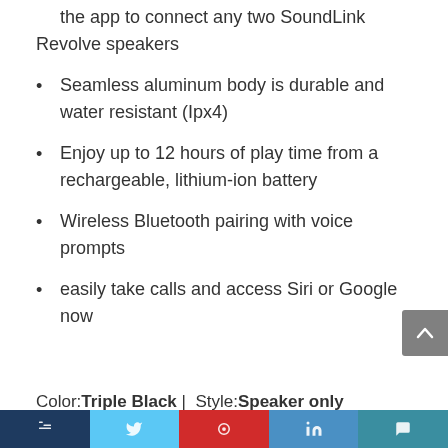the app to connect any two SoundLink Revolve speakers
Seamless aluminum body is durable and water resistant (Ipx4)
Enjoy up to 12 hours of play time from a rechargeable, lithium-ion battery
Wireless Bluetooth pairing with voice prompts
easily take calls and access Siri or Google now
Color: Triple Black | Style: Speaker only
The sound link Revolve Bluetooth speaker from Bose is engineered to deliver Deep, loud and immersive sound in